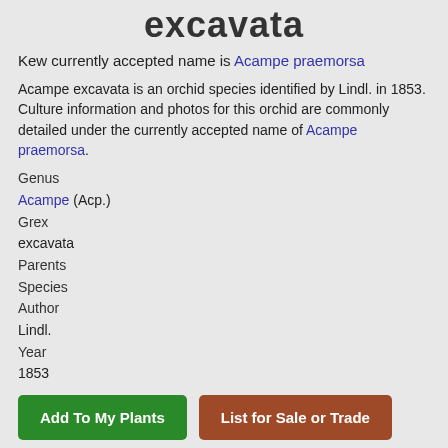excavata
Kew currently accepted name is Acampe praemorsa
Acampe excavata is an orchid species identified by Lindl. in 1853. Culture information and photos for this orchid are commonly detailed under the currently accepted name of Acampe praemorsa.
Genus
Acampe (Acp.)
Grex
excavata
Parents
Species
Author
Lindl.
Year
1853
Add To My Plants
List for Sale or Trade
Write an Article